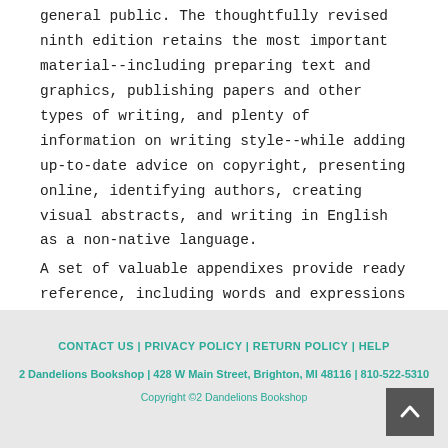general public. The thoughtfully revised ninth edition retains the most important material--including preparing text and graphics, publishing papers and other types of writing, and plenty of information on writing style--while adding up-to-date advice on copyright, presenting online, identifying authors, creating visual abstracts, and writing in English as a non-native language.

A set of valuable appendixes provide ready reference, including words and expressions to
CONTACT US | PRIVACY POLICY | RETURN POLICY | HELP
2 Dandelions Bookshop | 428 W Main Street, Brighton, MI 48116 | 810-522-5310
Copyright ©2 Dandelions Bookshop